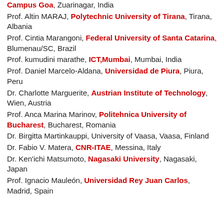Campus Goa, Zuarinagar, India
Prof. Altin MARAJ, Polytechnic University of Tirana, Tirana, Albania
Prof. Cintia Marangoni, Federal University of Santa Catarina, Blumenau/SC, Brazil
Prof. kumudini marathe, ICT,Mumbai, Mumbai, India
Prof. Daniel Marcelo-Aldana, Universidad de Piura, Piura, Peru
Dr. Charlotte Marguerite, Austrian Institute of Technology, Wien, Austria
Prof. Anca Marina Marinov, Politehnica University of Bucharest, Bucharest, Romania
Dr. Birgitta Martinkauppi, University of Vaasa, Vaasa, Finland
Dr. Fabio V. Matera, CNR-ITAE, Messina, Italy
Dr. Ken'ichi Matsumoto, Nagasaki University, Nagasaki, Japan
Prof. Ignacio Mauleón, Universidad Rey Juan Carlos, Madrid, Spain